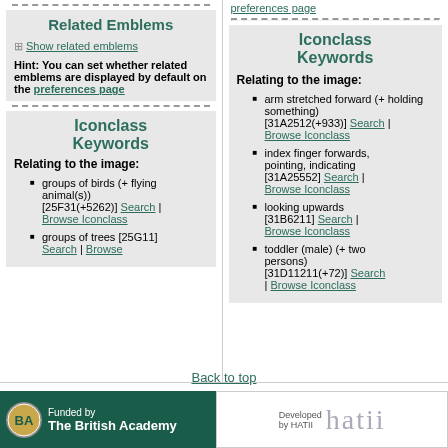Related Emblems
⊞ Show related emblems
Hint: You can set whether related emblems are displayed by default on the preferences page
Iconclass Keywords
Relating to the image:
groups of birds (+ flying animal(s)) [25F31(+5262)] Search | Browse Iconclass
groups of trees [25G11] Search | Browse
preferences page
Iconclass Keywords
Relating to the image:
arm stretched forward (+ holding something) [31A2512(+933)] Search | Browse Iconclass
index finger forwards, pointing, indicating [31A25552] Search | Browse Iconclass
looking upwards [31B6211] Search | Browse Iconclass
toddler (male) (+ two persons) [31D11211(+72)] Search | Browse Iconclass
Back to top
Funded by The British Academy | Developed by HATII